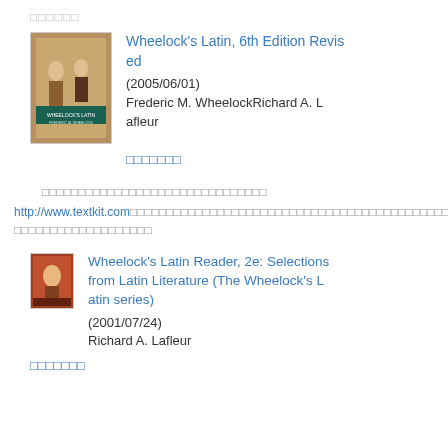□□□□□□
[Figure (illustration): Book cover of Wheelock's Latin with classical figures]
Wheelock's Latin, 6th Edition Revised
(2005/06/01)
Frederic M. WheelockRichard A. Lafleur
□□□□□□□
□□□□□□□□□□□□□□□□□□□□□□□□□□□□□
http://www.textkit.com □□□□□□□□□□□□□□□□□□□□□□□□□□□□□□□□□□□□□□□□□□□□□□□□□□□□□□□□□□□□□□□□□□□□□□□□
[Figure (illustration): Book cover of Wheelock's Latin Reader 2e with classical figure]
Wheelock's Latin Reader, 2e: Selections from Latin Literature (The Wheelock's Latin series)
(2001/07/24)
Richard A. Lafleur
□□□□□□□